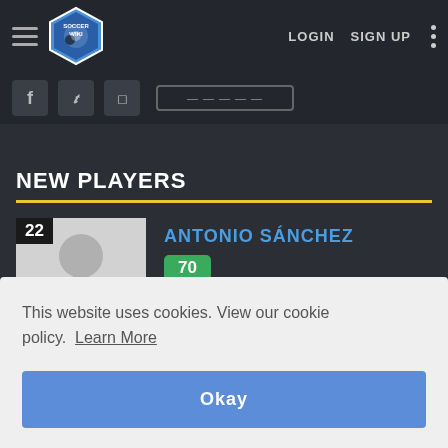Soccer Wiki — LOGIN  SIGN UP
NEW PLAYERS
ANTONIO SÁNCHEZ  70  GK
This website uses cookies. View our cookie policy.  Learn More
Okay